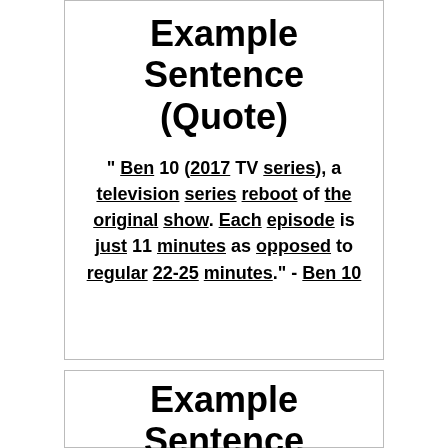Example Sentence (Quote)
" Ben 10 (2017 TV series), a television series reboot of the original show. Each episode is just 11 minutes as opposed to regular 22-25 minutes." - Ben 10
Example Sentence (Quote)